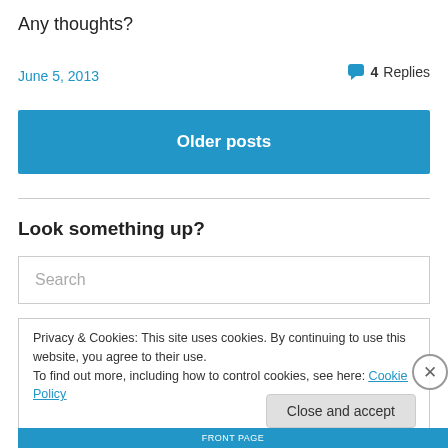Any thoughts?
June 5, 2013
4 Replies
Older posts
Look something up?
Search
Privacy & Cookies: This site uses cookies. By continuing to use this website, you agree to their use.
To find out more, including how to control cookies, see here: Cookie Policy
Close and accept